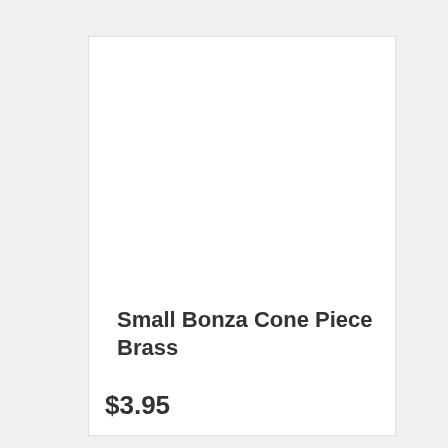[Figure (photo): Product image area — blank white space where a product photo would appear]
Small Bonza Cone Piece Brass
$3.95